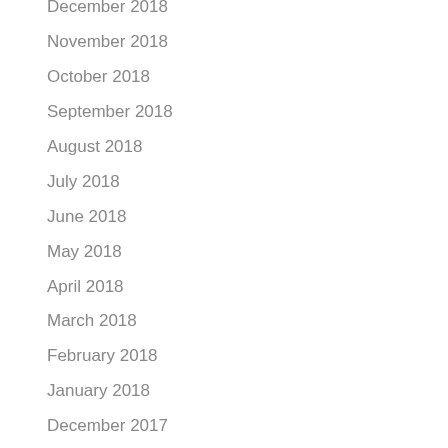December 2018
November 2018
October 2018
September 2018
August 2018
July 2018
June 2018
May 2018
April 2018
March 2018
February 2018
January 2018
December 2017
October 2017
August 2017